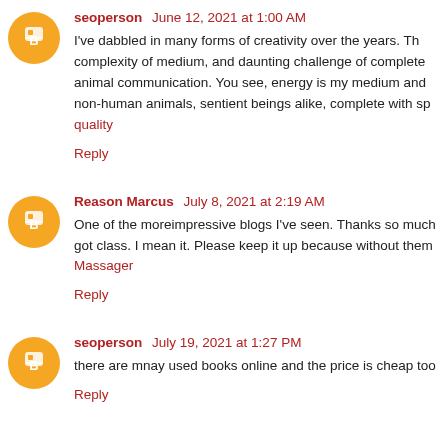seoperson June 12, 2021 at 1:00 AM
I've dabbled in many forms of creativity over the years. The complexity of medium, and daunting challenge of complete animal communication. You see, energy is my medium and non-human animals, sentient beings alike, complete with sp quality
Reply
Reason Marcus July 8, 2021 at 2:19 AM
One of the moreimpressive blogs I've seen. Thanks so much got class. I mean it. Please keep it up because without them Massager
Reply
seoperson July 19, 2021 at 1:27 PM
there are mnay used books online and the price is cheap too
Reply